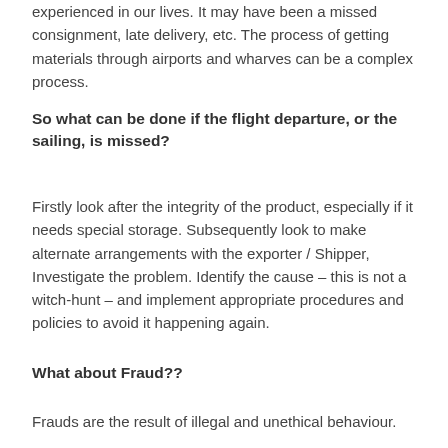experienced in our lives. It may have been a missed consignment, late delivery, etc. The process of getting materials through airports and wharves can be a complex process.
So what can be done if the flight departure, or the sailing, is missed?
Firstly look after the integrity of the product, especially if it needs special storage. Subsequently look to make alternate arrangements with the exporter / Shipper, Investigate the problem. Identify the cause – this is not a witch-hunt – and implement appropriate procedures and policies to avoid it happening again.
What about Fraud??
Frauds are the result of illegal and unethical behaviour.